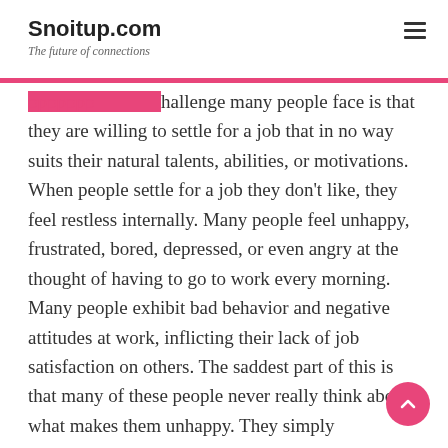Snoitup.com
The future of connections
...challenge many people face is that they are willing to settle for a job that in no way suits their natural talents, abilities, or motivations. When people settle for a job they don't like, they feel restless internally. Many people feel unhappy, frustrated, bored, depressed, or even angry at the thought of having to go to work every morning. Many people exhibit bad behavior and negative attitudes at work, inflicting their lack of job satisfaction on others. The saddest part of this is that many of these people never really think about what makes them unhappy. They simply